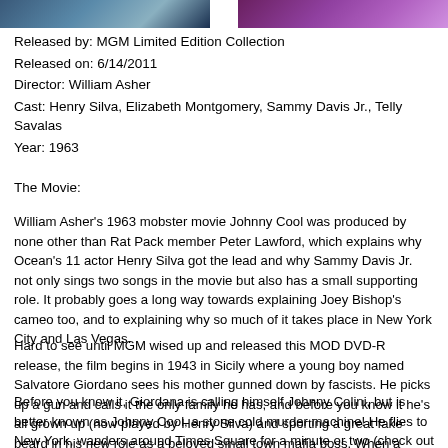[Figure (photo): Two partial photo thumbnails at the top of the page — a black and white photo on the left and a color/tinted photo on the right, separated by a white gap.]
Released by: MGM Limited Edition Collection
Released on: 6/14/2011
Director: William Asher
Cast: Henry Silva, Elizabeth Montgomery, Sammy Davis Jr., Telly Savalas
Year: 1963
The Movie:
William Asher's 1963 mobster movie Johnny Cool was produced by none other than Rat Pack member Peter Lawford, which explains why Ocean's 11 actor Henry Silva got the lead and why Sammy Davis Jr. not only sings two songs in the movie but also has a small supporting role. It probably goes a long way towards explaining Joey Bishop's cameo too, and to explaining why so much of it takes place in New York City and Las Vegas.
Hard to see until MGM wised up and released this MOD DVD-R release, the film begins in 1943 in Sicily where a young boy named Salvatore Giordano sees his mother gunned down by fascists. He picks up a gun and calls it the only family he has, and before you know it he's all grown up (now played by Henry Silva) and sporting a great fake beard in his new role as a beloved small town mafia boss. When a bigger mob boss named Johnny Colini (Marc Lawrence) sets up a fake death for Giordano, he sets into place a plan that will see Giordano take his name and head to the United States to get revenge on the American mobsters who had him deported.
Before you know it, Giordana is calling himself Johnny Colini, but is better known as Johnny Cool, a stone cold murder machine! He flies to New York, wanders around Times Square for a minute or two (check out the marquee with Sins Of The Flesh playing in the background!) and hits a restaurant where he